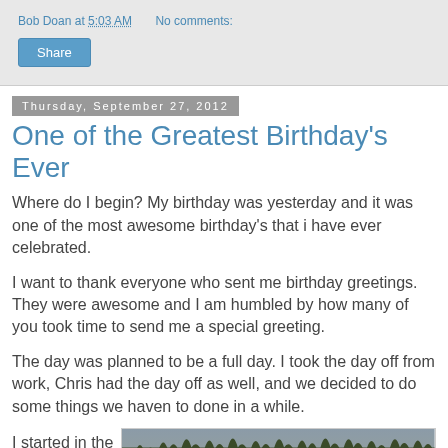Bob Doan at 5:03 AM    No comments:
Share
Thursday, September 27, 2012
One of the Greatest Birthday's Ever
Where do I begin? My birthday was yesterday and it was one of the most awesome birthday's that i have ever celebrated.
I want to thank everyone who sent me birthday greetings. They were awesome and I am humbled by how many of you took time to send me a special greeting.
The day was planned to be a full day. I took the day off from work, Chris had the day off as well, and we decided to do some things we haven to done in a while.
I started in the
[Figure (photo): Outdoor photo showing grass or vegetation in the foreground with a grayish sky in the background]